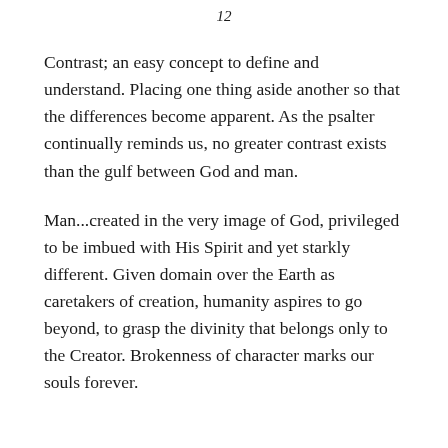12
Contrast; an easy concept to define and understand. Placing one thing aside another so that the differences become apparent. As the psalter continually reminds us, no greater contrast exists than the gulf between God and man.
Man...created in the very image of God, privileged to be imbued with His Spirit and yet starkly different. Given domain over the Earth as caretakers of creation, humanity aspires to go beyond, to grasp the divinity that belongs only to the Creator. Brokenness of character marks our souls forever.